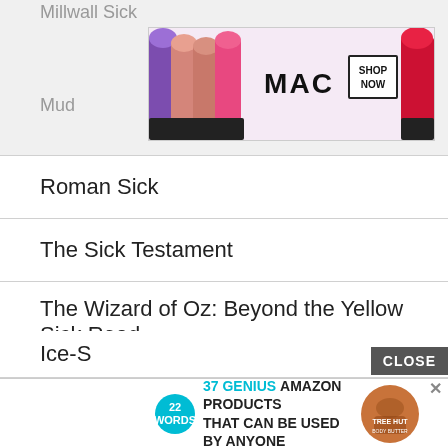Millwall Sick
[Figure (screenshot): MAC Cosmetics advertisement banner showing colorful lipsticks (purple, peach, pink, red) with MAC logo and SHOP NOW button]
Mud
Roman Sick
The Sick Testament
The Wizard of Oz: Beyond the Yellow Sick Road
Floss Sick
Frank Sick
Horseman's Sick
Ice-S
[Figure (screenshot): Advertisement: 22 Words - 37 GENIUS AMAZON PRODUCTS THAT CAN BE USED BY ANYONE, with product image and close button]